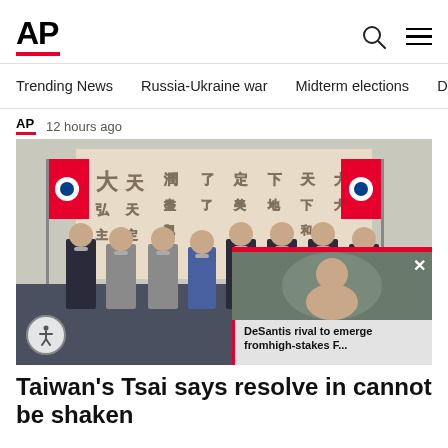AP
Trending News
Russia-Ukraine war
Midterm elections
Dona
AP  12 hours ago
[Figure (photo): Group photo of officials wearing masks standing in front of a large Chinese calligraphy scroll, flanked by Taiwanese flags. A video overlay appears in the bottom right showing a woman's face and the caption 'DeSantis rival to emerge fromhigh-stakes F...']
Taiwan's Tsai says resolve in cannot be shaken